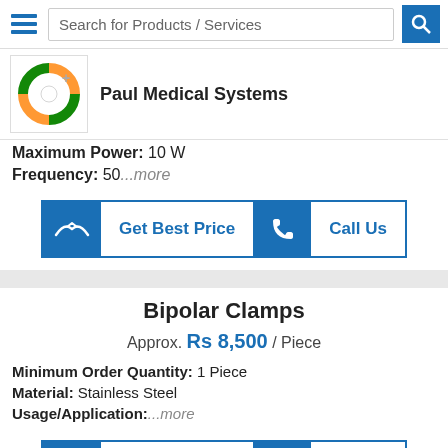Search for Products / Services
Paul Medical Systems
Maximum Power: 10 W
Frequency: 50...more
Get Best Price | Call Us
Bipolar Clamps
Approx. Rs 8,500 / Piece
Minimum Order Quantity: 1 Piece
Material: Stainless Steel
Usage/Application: ...more
Get Best Price | Call Us